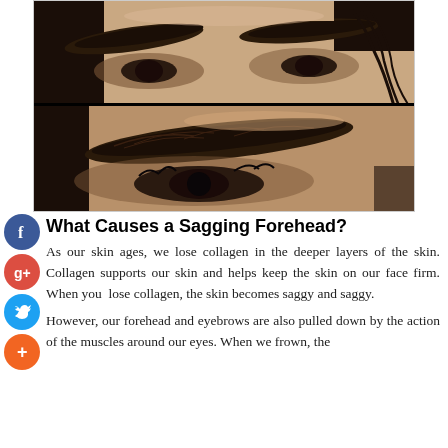[Figure (photo): Two close-up photos of a woman's eyebrow area showing eyebrow grooming/microblading results. The top photo shows both eyebrows from a front view, and the bottom photo shows a closer side angle of one eyebrow.]
What Causes a Sagging Forehead?
As our skin ages, we lose collagen in the deeper layers of the skin. Collagen supports our skin and helps keep the skin on our face firm. When you lose collagen, the skin becomes saggy and saggy.
However, our forehead and eyebrows are also pulled down by the action of the muscles around our eyes. When we frown, the